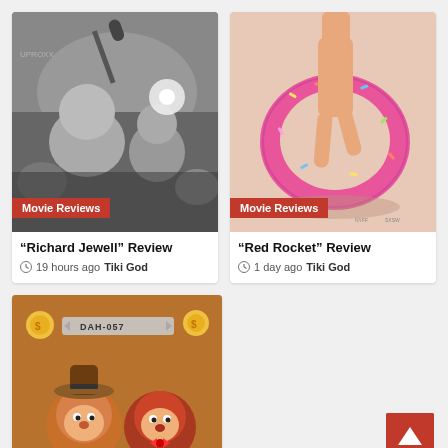[Figure (photo): Black and white photo of Richard Jewell surrounded by media/crowd]
Movie Reviews
“Richard Jewell” Review
19 hours ago  Tiki God
[Figure (photo): Movie poster for Red Rocket showing person in yoga pose behind a pink donut float]
Movie Reviews
“Red Rocket” Review
1 day ago  Tiki God
[Figure (photo): Animated characters Chip and Dale wearing hats, text DAH-057 visible]
[Figure (other): Red back-to-top arrow button]